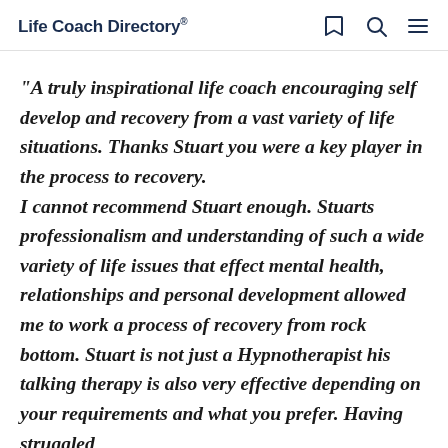Life Coach Directory
"A truly inspirational life coach encouraging self develop and recovery from a vast variety of life situations. Thanks Stuart you were a key player in the process to recovery. I cannot recommend Stuart enough. Stuarts professionalism and understanding of such a wide variety of life issues that effect mental health, relationships and personal development allowed me to work a process of recovery from rock bottom. Stuart is not just a Hypnotherapist his talking therapy is also very effective depending on your requirements and what you prefer. Having struggled